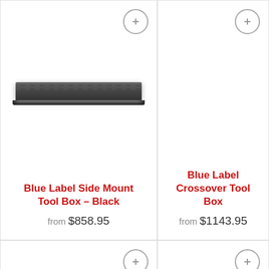[Figure (photo): Product card: Blue Label Side Mount Tool Box - Black, showing a flat dark tool box image]
Blue Label Side Mount Tool Box – Black
from $858.95
[Figure (photo): Product card: Blue Label Crossover Tool Box, no product image shown]
Blue Label Crossover Tool Box
from $1143.95
[Figure (photo): Product card (bottom left): empty product card with wishlist button]
[Figure (photo): Product card (bottom right): partially visible card with error message overlay]
ERROR fo
Invalid do